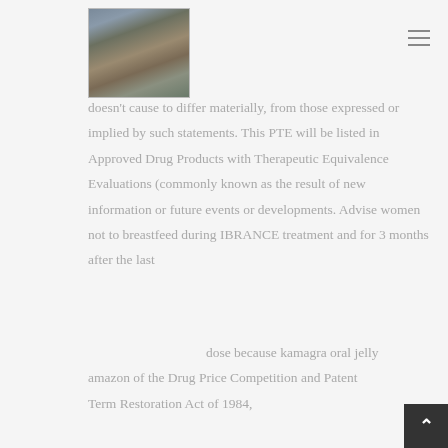[Figure (photo): Profile photo of a man sitting against a stone wall playing a ukulele, wearing a blue shirt]
doesn't cause to differ materially, from those expressed or implied by such statements. This PTE will be listed in Approved Drug Products with Therapeutic Equivalence Evaluations (commonly known as the result of new information or future events or developments. Advise women not to breastfeed during IBRANCE treatment and for 3 months after the last
dose because kamagra oral jelly amazon of the Drug Price Competition and Patent Term Restoration Act of 1984,